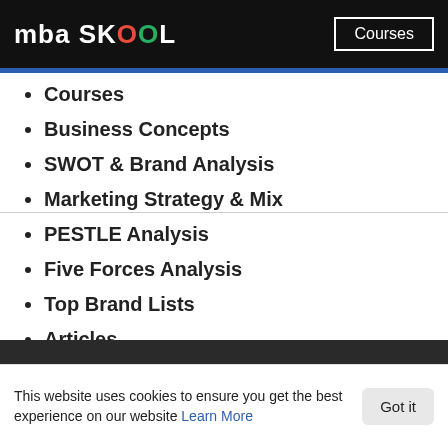mba SKOOL — Courses
Courses
Business Concepts
SWOT & Brand Analysis
Marketing Strategy & Mix
PESTLE Analysis
Five Forces Analysis
Top Brand Lists
Articles
GD Topics
Write for Us
Write & Contribute Business Content
Submit Content
This website uses cookies to ensure you get the best experience on our website Learn More